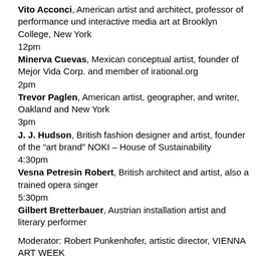Vito Acconci, American artist and architect, professor of performance und interactive media art at Brooklyn College, New York
12pm
Minerva Cuevas, Mexican conceptual artist, founder of Mejor Vida Corp. and member of irational.org
2pm
Trevor Paglen, American artist, geographer, and writer, Oakland and New York
3pm
J. J. Hudson, British fashion designer and artist, founder of the “art brand” NOKI – House of Sustainability
4:30pm
Vesna Petresin Robert, British architect and artist, also a trained opera singer
5:30pm
Gilbert Bretterbauer, Austrian installation artist and literary performer
Moderator: Robert Punkenhofer, artistic director, VIENNA ART WEEK
It is not least because of its geographical position between East and West that Vienna appears to be a good place for cross-